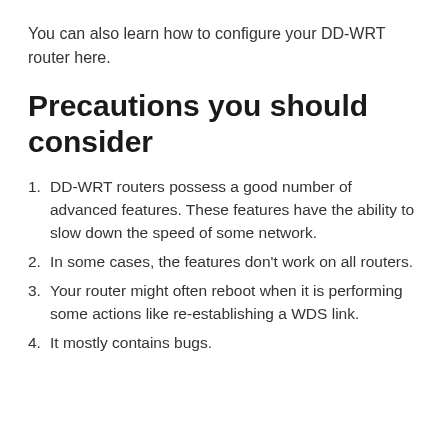You can also learn how to configure your DD-WRT router here.
Precautions you should consider
DD-WRT routers possess a good number of advanced features. These features have the ability to slow down the speed of some network.
In some cases, the features don’t work on all routers.
Your router might often reboot when it is performing some actions like re-establishing a WDS link.
It mostly contains bugs.